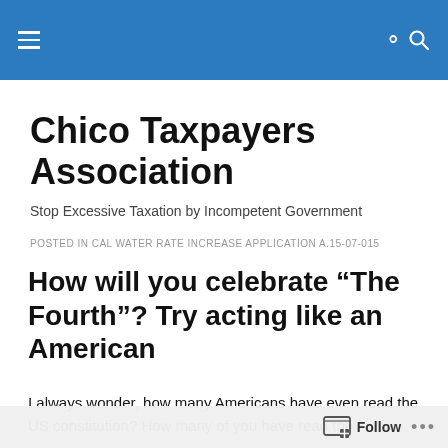Chico Taxpayers Association — navigation bar
Chico Taxpayers Association
Stop Excessive Taxation by Incompetent Government
POSTED IN CAL WATER RATE INCREASE APPLICATION A.15-07-015
How will you celebrate “The Fourth”? Try acting like an American
I always wonder, how many Americans have even read the US constitution? How many of you have read the
Follow